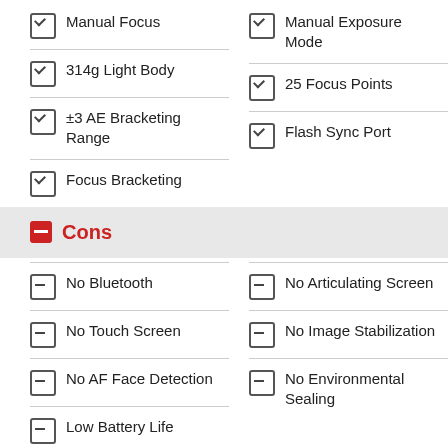Manual Focus
Manual Exposure Mode
314g Light Body
25 Focus Points
±3 AE Bracketing Range
Flash Sync Port
Focus Bracketing
Cons
No Bluetooth
No Articulating Screen
No Touch Screen
No Image Stabilization
No AF Face Detection
No Environmental Sealing